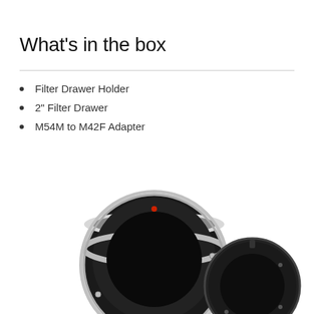What's in the box
Filter Drawer Holder
2" Filter Drawer
M54M to M42F Adapter
[Figure (photo): Two camera adapter rings/filter drawer holders on white background. Left: larger black and silver ring adapter. Right: smaller black ring adapter.]